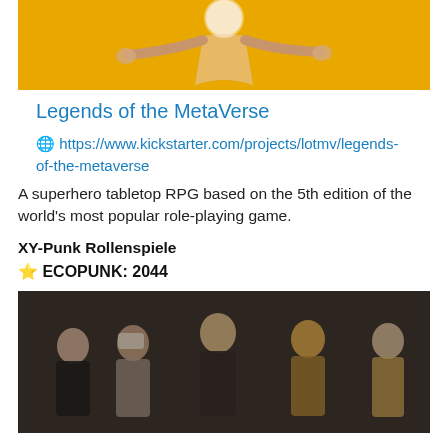[Figure (illustration): Superhero figure with arms outstretched against a golden/yellow background]
Legends of the MetaVerse
🌐 https://www.kickstarter.com/projects/lotmv/legends-of-the-metaverse
A superhero tabletop RPG based on the 5th edition of the world's most popular role-playing game.
XY-Punk Rollenspiele
⭐ ECOPUNK: 2044
[Figure (illustration): Group of cyberpunk characters in dark, dystopian setting]